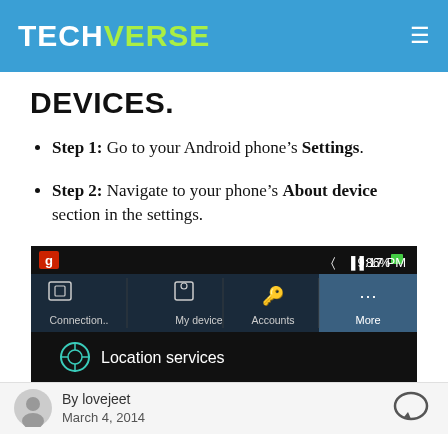TECHVERSE
DEVICES.
Step 1: Go to your Android phone's Settings.
Step 2: Navigate to your phone's About device section in the settings.
[Figure (screenshot): Android phone settings screen showing tabs: Connection..., My device, Accounts, More (selected), with Location services listed below. Status bar shows 86% battery, 9:17 PM.]
By lovejeet
March 4, 2014